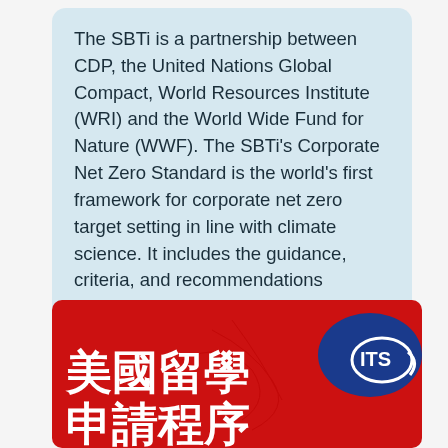The SBTi is a partnership between CDP, the United Nations Global Compact, World Resources Institute (WRI) and the World Wide Fund for Nature (WWF). The SBTi's Corporate Net Zero Standard is the world's first framework for corporate net zero target setting in line with climate science. It includes the guidance, criteria, and recommendations companies need to set science based net zero targets consistent with limiting global temperature rise to 1.5 C.
[Figure (illustration): Red banner advertisement with Chinese characters '美國留學 申請程序' (US Study Abroad Application Process) in white bold text on the left, and a blue ITS logo on the upper right against the red background.]